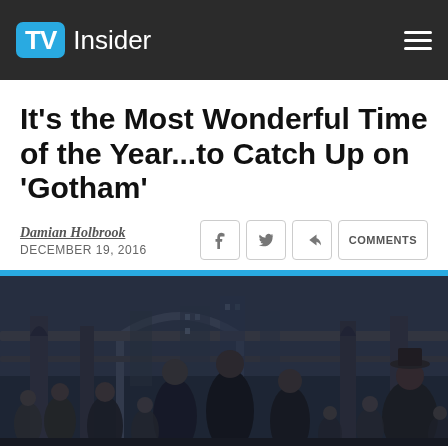TV Insider
It’s the Most Wonderful Time of the Year…to Catch Up on ‘Gotham’
Damian Holbrook
DECEMBER 19, 2016
[Figure (photo): Cast photo of Gotham TV show characters posed in front of urban Gothic architecture, in a dark blue-grey desaturated color palette]